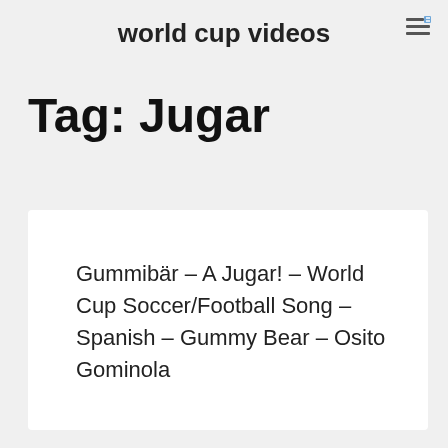world cup videos
Tag: Jugar
Gummibär – A Jugar! – World Cup Soccer/Football Song – Spanish – Gummy Bear – Osito Gominola